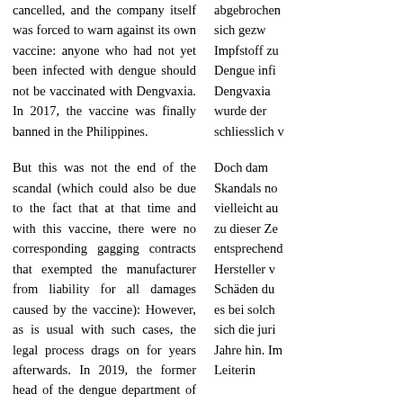cancelled, and the company itself was forced to warn against its own vaccine: anyone who had not yet been infected with dengue should not be vaccinated with Dengvaxia. In 2017, the vaccine was finally banned in the Philippines.
But this was not the end of the scandal (which could also be due to the fact that at that time and with this vaccine, there were no corresponding gagging contracts that exempted the manufacturer from liability for all damages caused by the vaccine): However, as is usual with such cases, the legal process drags on for years afterwards. In 2019, the former head of the dengue department of the Philippine Tropical Medicine Research Institute, Rose Capeding, was charged by the
abgebrochen
sich gezw
Impfstoff zu
Dengue infi
Dengvaxia
wurde der
schliesslich v
Doch dam
Skandals no
vielleicht au
zu dieser Ze
entsprechend
Hersteller v
Schäden du
es bei solch
sich die juri
Jahre hin. Im
Leiterin